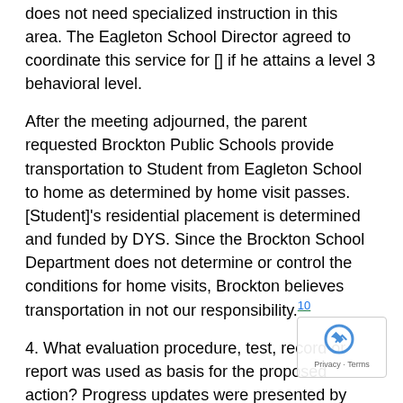does not need specialized instruction in this area. The Eagleton School Director agreed to coordinate this service for [] if he attains a level 3 behavioral level.
After the meeting adjourned, the parent requested Brockton Public Schools provide transportation to Student from Eagleton School to home as determined by home visit passes. [Student]'s residential placement is determined and funded by DYS. Since the Brockton School Department does not determine or control the conditions for home visits, Brockton believes transportation in not our responsibility.10
4. What evaluation procedure, test, record or report was used as basis for the proposed action? Progress updates were presented by Eagleton School staff. [Student]'s and parent's concerns were discussed by the Team.
5. What other factors were relevant to the school di decision? [Student] has been at Eagleton School since